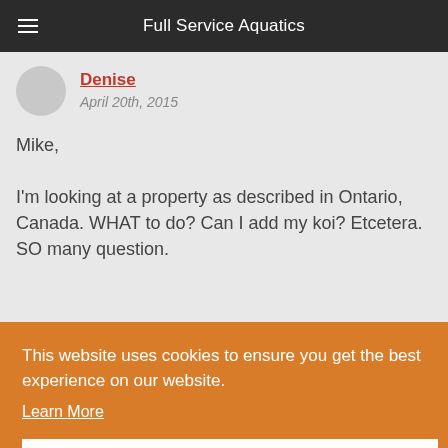Full Service Aquatics
Denise
April 20th, 2015
Mike,

I'm looking at a property as described in Ontario, Canada. WHAT to do? Can I add my koi? Etcetera. SO many question.
This website uses cookies to ensure you get the best experience on our website.
Learn More
Got it!
Mike Gannon